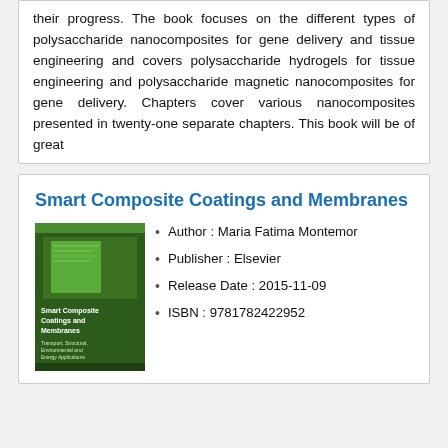their progress. The book focuses on the different types of polysaccharide nanocomposites for gene delivery and tissue engineering and covers polysaccharide hydrogels for tissue engineering and polysaccharide magnetic nanocomposites for gene delivery. Chapters cover various nanocomposites presented in twenty-one separate chapters. This book will be of great
Smart Composite Coatings and Membranes
[Figure (illustration): Book cover of 'Smart Composite Coatings and Membranes' with dark green background and subtitle 'Transport, Structural, Environmental and Energy Applications']
Author : Maria Fatima Montemor
Publisher : Elsevier
Release Date : 2015-11-09
ISBN : 9781782422952